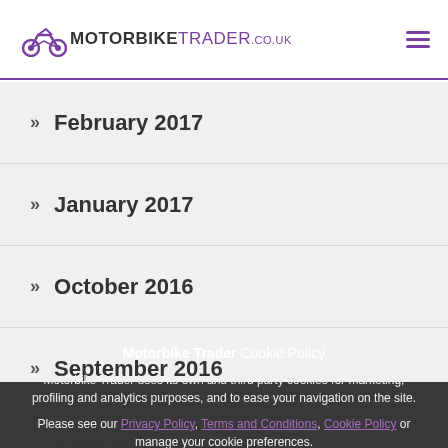MOTORBIKE TRADER .co.uk
» February 2017
» January 2017
» October 2016
» September 2016
» August 2016
» July 2016
Motorbike Trader Cookie Policy
Motorbike Trader uses its own and third party cookies for marketing, profiling and analytics purposes, and to ease your navigation on the site.
Please see our Privacy Policy, Terms and Conditions, Cookie Policy or manage your cookie preferences.
Please click OK to accept.